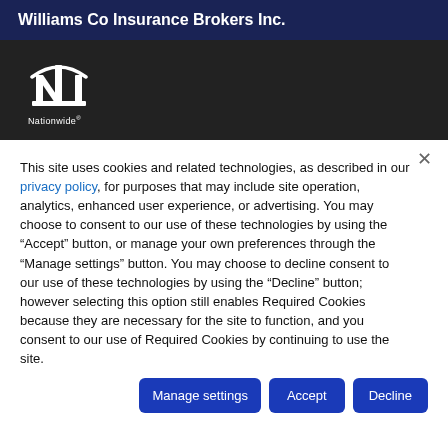Williams Co Insurance Brokers Inc.
[Figure (logo): Nationwide insurance logo — white stylized 'N' icon with building/columns motif and 'Nationwide' text below, on dark background]
This site uses cookies and related technologies, as described in our privacy policy, for purposes that may include site operation, analytics, enhanced user experience, or advertising. You may choose to consent to our use of these technologies by using the “Accept” button, or manage your own preferences through the “Manage settings” button. You may choose to decline consent to our use of these technologies by using the “Decline” button; however selecting this option still enables Required Cookies because they are necessary for the site to function, and you consent to our use of Required Cookies by continuing to use the site.